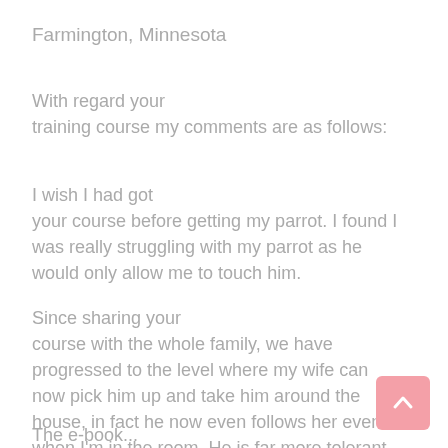Farmington, Minnesota
With regard your
training course my comments are as follows:
I wish I had got
your course before getting my parrot. I found I was really struggling with my parrot as he would only allow me to touch him.
Since sharing your
course with the whole family, we have progressed to the level where my wife can now pick him up and take him around the house, in fact he now even follows her even when I'm in the room. He is far more tolerant of the children (5 & 7 Yrs)and has now really become the family bird, not just mine.
The e-book...